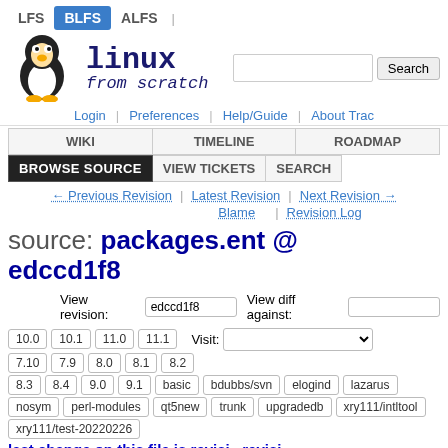LFS  BLFS  ALFS
[Figure (logo): Linux From Scratch Tux penguin logo with search bar]
Login | Preferences | Help/Guide | About Trac
WIKI | TIMELINE | ROADMAP | BROWSE SOURCE | VIEW TICKETS | SEARCH
← Previous Revision | Latest Revision | Next Revision → Blame | Revision Log
source: packages.ent @ edccd1f8
View revision: edccd1f8  View diff against:
10.0  10.1  11.0  11.1   Visit:   7.10  7.9  8.0  8.1  8.2   8.3  8.4  9.0  9.1  basic  bdubbs/svn  elogind  lazarus  nosym  perl-modules  qt5new  trunk  upgradedb  xry111/intltool  xry111/test-20220226